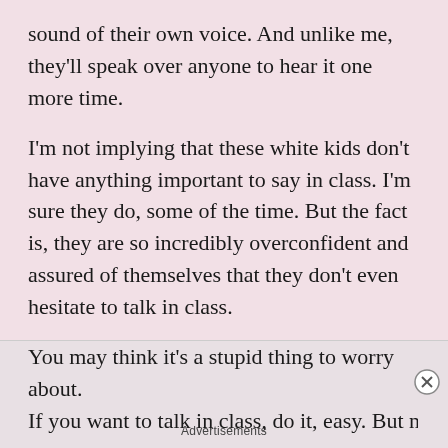sound of their own voice. And unlike me, they'll speak over anyone to hear it one more time.
I'm not implying that these white kids don't have anything important to say in class. I'm sure they do, some of the time. But the fact is, they are so incredibly overconfident and assured of themselves that they don't even hesitate to talk in class.
You may think it's a stupid thing to worry about. If you want to talk in class, do it, easy. But not
Advertisements